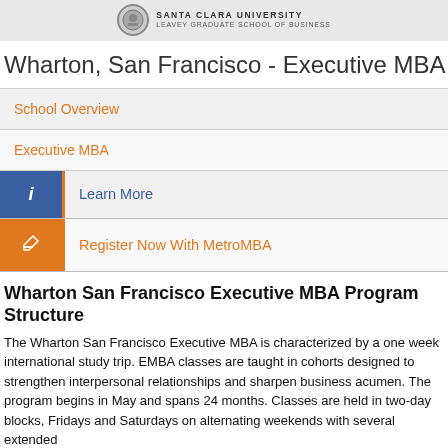[Figure (logo): Santa Clara University Leavey Graduate School of Business logo with circular seal]
Wharton, San Francisco - Executive MBA
School Overview
Executive MBA
Learn More
Register Now With MetroMBA
Wharton San Francisco Executive MBA Program Structure
The Wharton San Francisco Executive MBA is characterized by a one week international study trip. EMBA classes are taught in cohorts designed to strengthen interpersonal relationships and sharpen business acumen. The program begins in May and spans 24 months. Classes are held in two-day blocks, Fridays and Saturdays on alternating weekends with several extended